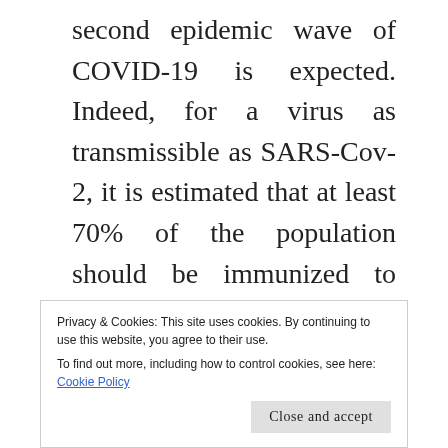second epidemic wave of COVID-19 is expected. Indeed, for a virus as transmissible as SARS-Cov-2, it is estimated that at least 70% of the population should be immunized to avoid an epidemic recurrence. Even if significant uncertainties persist on the current level of immunity in the French population, in any case, this level is much less than 70%, as it is between 5%
Privacy & Cookies: This site uses cookies. By continuing to use this website, you agree to their use.
To find out more, including how to control cookies, see here: Cookie Policy
Close and accept